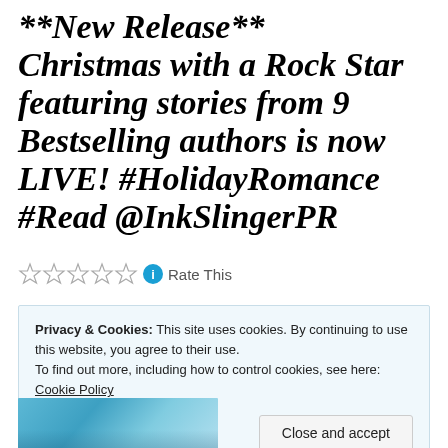**NEW RELEASE** CHRISTMAS WITH A ROCK STAR FEATURING STORIES FROM 9 Bestselling AUTHORS IS NOW LIVE! #HolidayRomance #Read @InkSlingerPR
Rate This
Privacy & Cookies: This site uses cookies. By continuing to use this website, you agree to their use. To find out more, including how to control cookies, see here: Cookie Policy
Close and accept
[Figure (photo): Partial view of a photo at the bottom of the page showing a blue/teal colored scene]